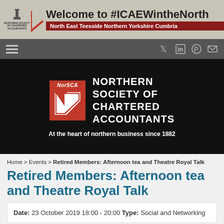[Figure (logo): Northern Society of Chartered Accountants banner with 'Welcome to #ICAEWintheNorth' text and subtitle 'North East Teesside Northern Yorkshire Cumbria']
[Figure (logo): Navigation bar with hamburger menu and social icons (Twitter, LinkedIn, Pinterest, Email)]
[Figure (logo): NorSCA - Northern Society of Chartered Accountants hero logo on black background with tagline 'At the heart of northern business since 1882']
Home > Events > Retired Members: Afternoon tea and Theatre Royal Talk
Retired Members: Afternoon tea and Theatre Royal Talk
Date: 23 October 2019 18:00 - 20:00
Type: Social and Networking